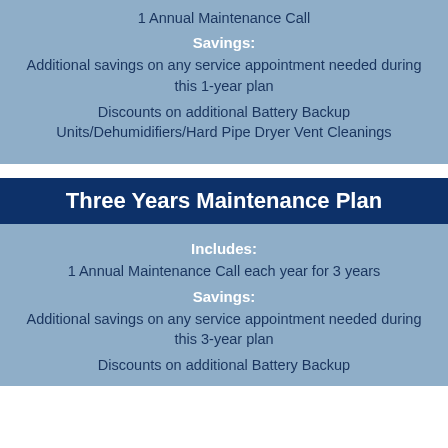1 Annual Maintenance Call
Savings:
Additional savings on any service appointment needed during this 1-year plan
Discounts on additional Battery Backup Units/Dehumidifiers/Hard Pipe Dryer Vent Cleanings
Three Years Maintenance Plan
Includes:
1 Annual Maintenance Call each year for 3 years
Savings:
Additional savings on any service appointment needed during this 3-year plan
Discounts on additional Battery Backup